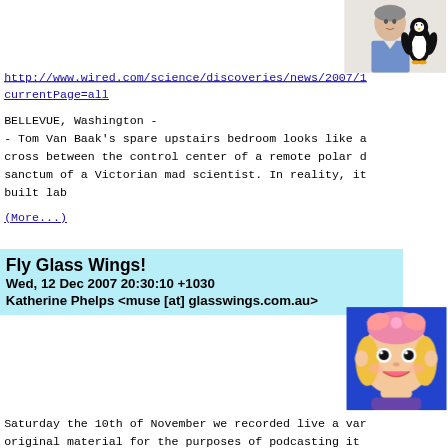[Figure (photo): Photo of a man in blue shirt with a Linux Tux penguin plush toy]
http://www.wired.com/science/discoveries/news/2007/1
currentPage=all
BELLEVUE, Washington -
- Tom Van Baak's spare upstairs bedroom looks like a
cross between the control center of a remote polar d
sanctum of a Victorian mad scientist. In reality, it
built lab
(More...)
Fly Glass Wings!
Wed, 12 Dec 2007 20:30:10 +1030
Katherine Phelps <muse [at] glasswings.com.au>
[Figure (illustration): Cartoon illustration of a girl character with pink hair bow and blonde hair, smiling]
Saturday the 10th of November we recorded live a var
original material for the purposes of podcasting it